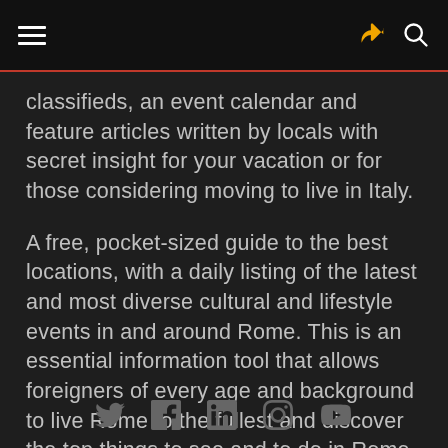[Navigation bar with hamburger menu, share icon, and search icon]
classifieds, an event calendar and feature articles written by locals with secret insight for your vacation or for those considering moving to live in Italy.
A free, pocket-sized guide to the best locations, with a daily listing of the latest and most diverse cultural and lifestyle events in and around Rome. This is an essential information tool that allows foreigners of every age and background to live Rome to the fullest and discover the top things to see and to do in Rome.
[Social media icons: Twitter, Facebook, LinkedIn, Instagram, YouTube]